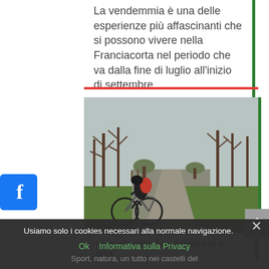La vendemmia è una delle esperienze più affascinanti che si possono vivere nella Franciacorta nel periodo che va dalla fine di luglio all'inizio di settembre
leggi tutto
[Figure (photo): A cyclist riding a bike along a gravel path through a park with bare trees and green grass on an overcast day.]
I castelli della bergamasca in e-bike
Usiamo solo i cookies necessari alla normale navigazione.
Ok   Informativa sulla Privacy
Sport, natura, un tutto nei castelli del